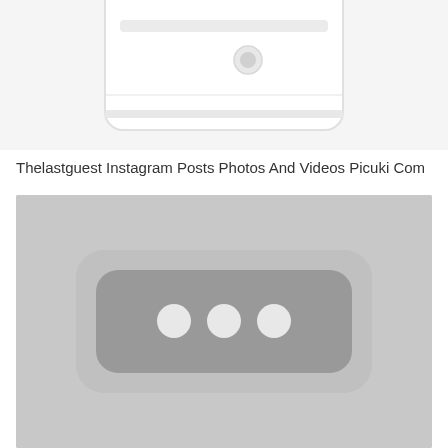[Figure (illustration): Top portion of a white/light gray stylized device or router illustration shown from an angle, partially cropped at top of page]
Thelastguest Instagram Posts Photos And Videos Picuki Com
[Figure (illustration): A light gray placeholder image with a rounded rectangle containing three white circles (ellipsis/loading indicator) in the center, suggesting an unloaded or placeholder media item]